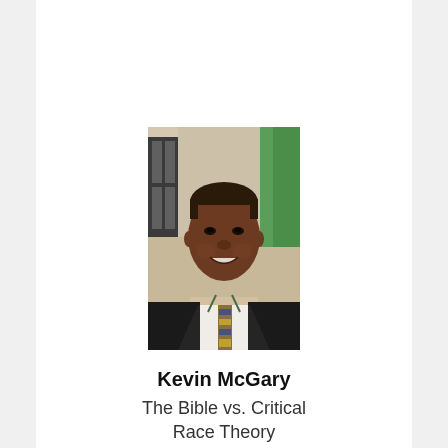[Figure (photo): Headshot of Kevin McGary, a man in a dark blazer and patterned tie, smiling, with an indoor/office background.]
Kevin McGary
The Bible vs. Critical Race Theory